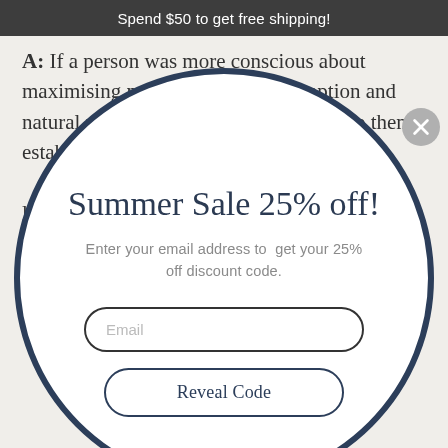Spend $50 to get free shipping!
A: If a person was more conscious about maximising natural energy consumption and natural resource efficiency, it would help them establish an incredible discipline for taking care of their health and wellbeing on a personal level.
[Figure (infographic): A circular modal popup overlay with a dark navy border on a light beige webpage background. Contains a summer sale promotion with email input and Reveal Code button. A grey close (X) button appears at the top right of the circle.]
Summer Sale 25% off!
Enter your email address to get your 25% off discount code.
Email
Reveal Code